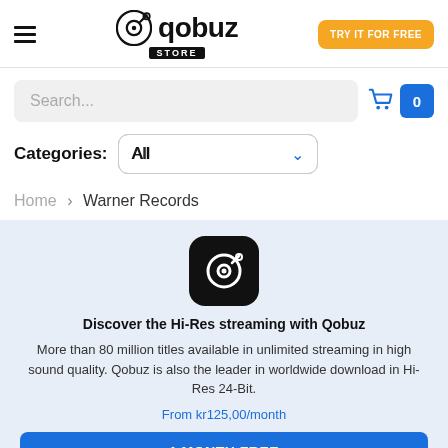[Figure (logo): Qobuz Store logo with hamburger menu and TRY IT FOR FREE button]
Search...
Categories: All
Home › Warner Records
[Figure (logo): Qobuz app icon - black rounded square with headphone/record logo]
Discover the Hi-Res streaming with Qobuz
More than 80 million titles available in unlimited streaming in high sound quality. Qobuz is also the leader in worldwide download in Hi-Res 24-Bit.
From kr125,00/month
1 MONTH FREE